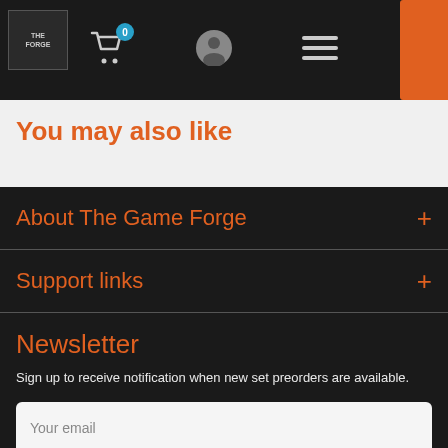Navigation bar with logo, cart (0), user icon, and menu icon
You may also like
About The Game Forge +
Support links +
Newsletter
Sign up to receive notification when new set preorders are available.
Your email